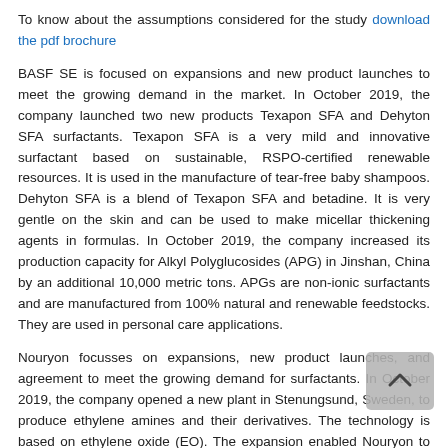To know about the assumptions considered for the study download the pdf brochure
BASF SE is focused on expansions and new product launches to meet the growing demand in the market. In October 2019, the company launched two new products Texapon SFA and Dehyton SFA surfactants. Texapon SFA is a very mild and innovative surfactant based on sustainable, RSPO-certified renewable resources. It is used in the manufacture of tear-free baby shampoos. Dehyton SFA is a blend of Texapon SFA and betadine. It is very gentle on the skin and can be used to make micellar thickening agents in formulas. In October 2019, the company increased its production capacity for Alkyl Polyglucosides (APG) in Jinshan, China by an additional 10,000 metric tons. APGs are non-ionic surfactants and are manufactured from 100% natural and renewable feedstocks. They are used in personal care applications.
Nouryon focusses on expansions, new product launches, and agreement to meet the growing demand for surfactants. In October 2019, the company opened a new plant in Stenungsund, Sweden, to produce ethylene amines and their derivatives. The technology is based on ethylene oxide (EO). The expansion enabled Nouryon to expand its ethylene amine capacity, an important raw material in the production of surfactants. In October 2019, the company launched WITBREAK NEO, a range of sustainable demulsifiers to separate crude oil from natural gas and water. In June 2019, Nouryon